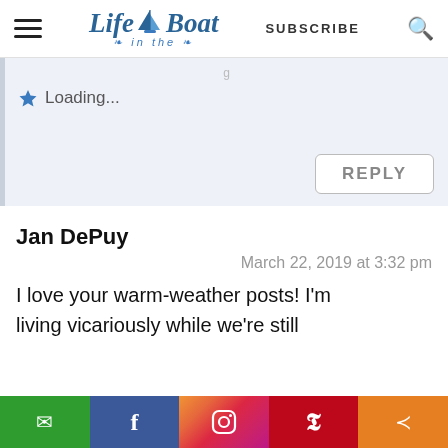[Figure (logo): Life in the Boat blog logo with sailboat icon, Subscribe button, and search icon in header]
Loading...
REPLY
Jan DePuy
March 22, 2019 at 3:32 pm
I love your warm-weather posts! I'm living vicariously while we're still
[Figure (infographic): Social share bar with email, Facebook, Instagram, Pinterest, and share buttons]